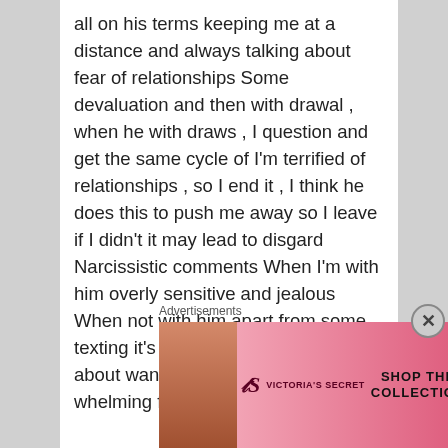all on his terms keeping me at a distance and always talking about fear of relationships Some devaluation and then with drawal , when he with draws , I question and get the same cycle of I'm terrified of relationships , so I end it , I think he does this to push me away so I leave if I didn't it may lead to disgard Narcissistic comments When I'm with him overly sensitive and jealous When not with him apart from some texting it's like I don't exist Talks about wanting alone time or over whelming feelings of
Advertisements
[Figure (screenshot): Victoria's Secret advertisement banner with model, VS logo, 'SHOP THE COLLECTION' text, and 'SHOP NOW' button on pink background]